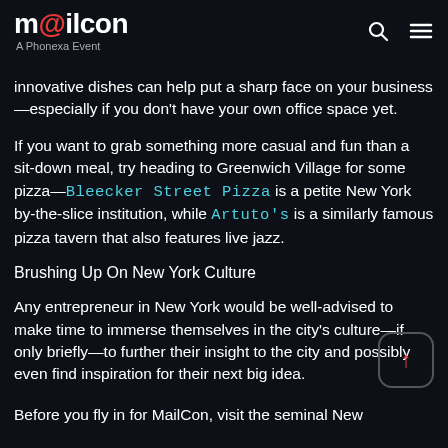mailcon — A Phonexa Event
innovative dishes can help put a sharp face on your business—especially if you don't have your own office space yet.
If you want to grab something more casual and fun than a sit-down meal, try heading to Greenwich Village for some pizza—Bleecker Street Pizza is a petite New York by-the-slice institution, while Artuto's is a similarly famous pizza tavern that also features live jazz.
Brushing Up On New York Culture
Any entrepreneur in New York would be well-advised to make time to immerse themselves in the city's culture—if only briefly—to further their insight to the city and possibly even find inspiration for their next big idea.
Before you fly in for MailCon, visit the seminal New